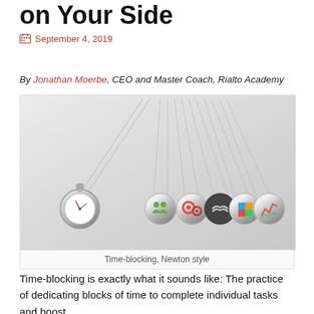on Your Side
September 4, 2019
By Jonathan Moerbe, CEO and Master Coach, Rialto Academy
[Figure (photo): Newton's cradle with a stopwatch on one end and decorative balls with icons (people, gears, handshake, puzzle, chart, globe) on the other end, suspended by strings against a light gray gradient background.]
Time-blocking, Newton style
Time-blocking is exactly what it sounds like: The practice of dedicating blocks of time to complete individual tasks and boost